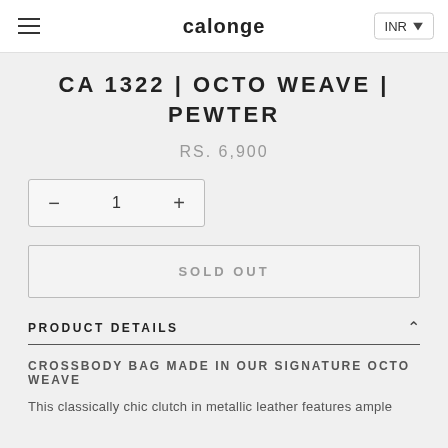calonge
CA 1322 | OCTO WEAVE | PEWTER
RS. 6,900
— 1 +
SOLD OUT
PRODUCT DETAILS
CROSSBODY BAG MADE IN OUR SIGNATURE OCTO WEAVE
This classically chic clutch in metallic leather features ample